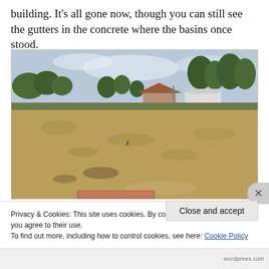building. It’s all gone now, though you can still see the gutters in the concrete where the basins once stood.
[Figure (photo): An open vacant lot with dry grass and scrub in the foreground, trees in the background, and a small red-roofed building and white structure visible in the mid-distance. Overcast sky above. A rusted rectangular object in the foreground bottom.]
Privacy & Cookies: This site uses cookies. By continuing to use this website, you agree to their use.
To find out more, including how to control cookies, see here: Cookie Policy
Close and accept